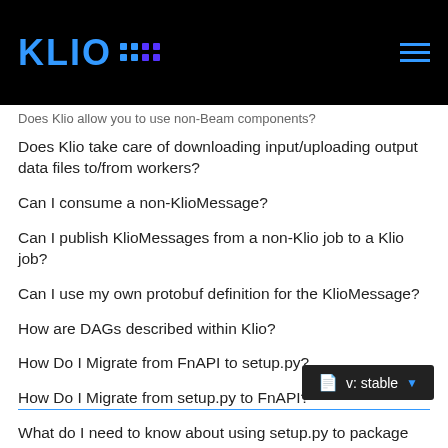KLIO v: stable
Does Klio allow you to use non-Beam components?
Does Klio take care of downloading input/uploading output data files to/from workers?
Can I consume a non-KlioMessage?
Can I publish KlioMessages from a non-Klio job to a Klio job?
Can I use my own protobuf definition for the KlioMessage?
How are DAGs described within Klio?
How Do I Migrate from FnAPI to setup.py?
How Do I Migrate from setup.py to FnAPI?
What do I need to know about using setup.py to package dependencies in Klio?
Converting a Streaming Pipeline to Batch
How do I run a Klio job on Kubernetes?